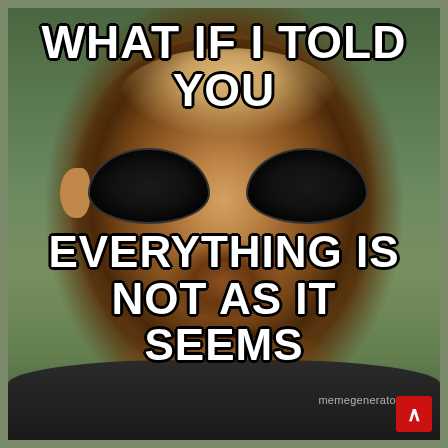[Figure (photo): Morpheus from The Matrix meme. A close-up of a bald Black man wearing large oval dark sunglasses, looking directly at the camera with a serious expression. Background is greenish-gray. Text overlay reads 'WHAT IF I TOLD YOU' at the top and 'EVERYTHING IS NOT AS IT SEEMS' at the bottom in white Impact font with black outline. Watermark reads 'memegenerator' in the lower right corner with a small red button with an upward chevron.]